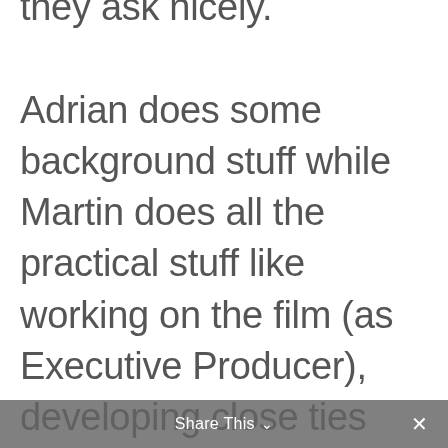they ask nicely.

Adrian does some background stuff while Martin does all the practical stuff like working on the film (as Executive Producer), developing close ties with individuals affected by gambling, and liaising with media where he's now become frequently featured
Share This ∨  ×